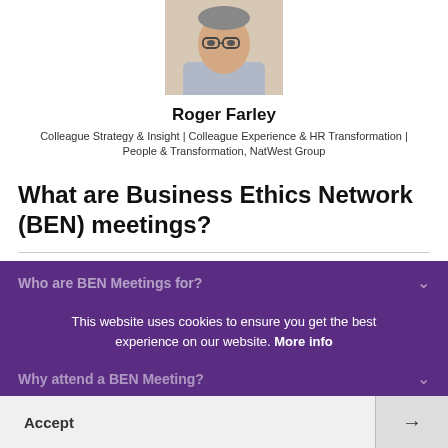[Figure (photo): Headshot photo of Roger Farley, a middle-aged man with glasses, wearing a light-colored shirt]
Roger Farley
Colleague Strategy & Insight | Colleague Experience & HR Transformation | People & Transformation, NatWest Group
What are Business Ethics Network (BEN) meetings?
What are BEN Meetings?
Who are BEN Meetings for?
This website uses cookies to ensure you get the best experience on our website. More info
Why attend a BEN Meeting?
Accept